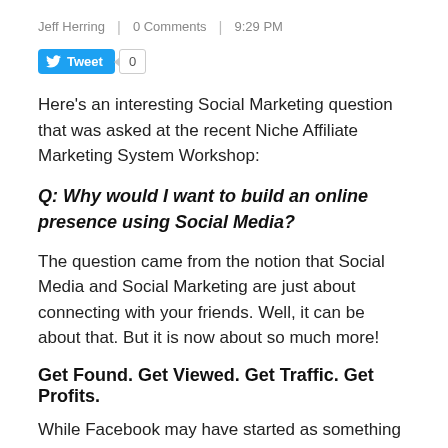Jeff Herring | 0 Comments | 9:29 PM
[Figure (other): Twitter Tweet button with count 0]
Here’s an interesting Social Marketing question that was asked at the recent Niche Affiliate Marketing System Workshop:
Q: Why would I want to build an online presence using Social Media?
The question came from the notion that Social Media and Social Marketing are just about connecting with your friends. Well, it can be about that. But it is now about so much more!
Get Found. Get Viewed. Get Traffic. Get Profits.
While Facebook may have started as something just for